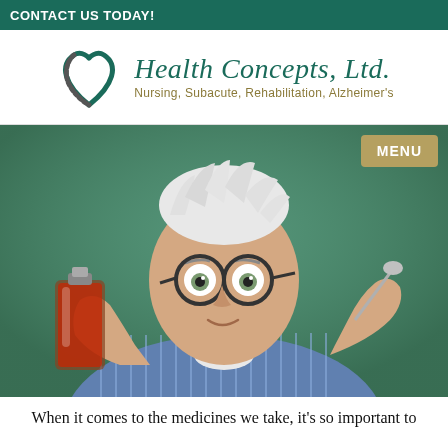CONTACT US TODAY!
[Figure (logo): Health Concepts, Ltd. logo with a heart icon and tagline: Nursing, Subacute, Rehabilitation, Alzheimer's]
[Figure (photo): An elderly man with wild white hair and glasses looking wide-eyed while holding a red liquid bottle in one hand and a spoon in the other, against a green background. A MENU button is in the top-right corner.]
When it comes to the medicines we take, it's so important to